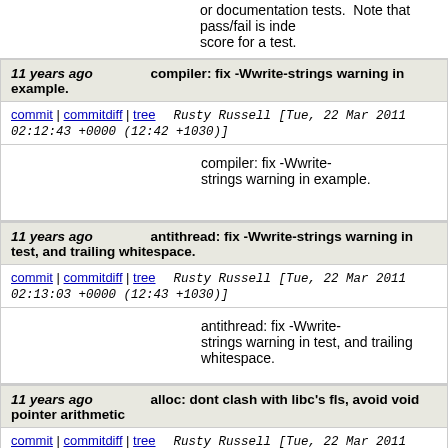or documentation tests. Note that pass/fail is inde score for a test.
11 years ago   compiler: fix -Wwrite-strings warning in example.
commit | commitdiff | tree   Rusty Russell [Tue, 22 Mar 2011 02:12:43 +0000 (12:42 +1030)]
compiler: fix -Wwrite-strings warning in example.
11 years ago   antithread: fix -Wwrite-strings warning in test, and trailing whitespace.
commit | commitdiff | tree   Rusty Russell [Tue, 22 Mar 2011 02:13:03 +0000 (12:43 +1030)]
antithread: fix -Wwrite-strings warning in test, and trailing whitespace.
11 years ago   alloc: dont clash with libc's fls, avoid void pointer arithmetic
commit | commitdiff | tree   Rusty Russell [Tue, 22 Mar 2011 02:14:03 +0000 (12:44 +1030)]
alloc: dont clash with libc's fls, avoid void pointer a